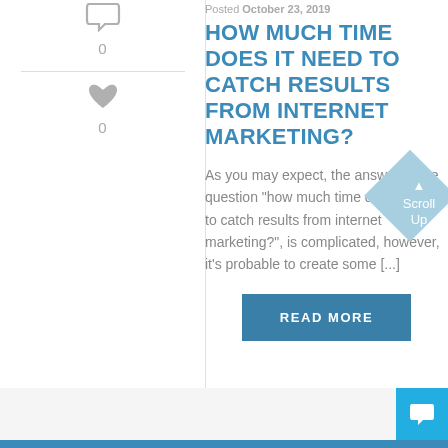Posted October 23, 2019
HOW MUCH TIME DOES IT NEED TO CATCH RESULTS FROM INTERNET MARKETING?
As you may expect, the answer to the question “how much time does it need to catch results from internet marketing?”, is complicated, however, it’s probable to create some [...]
READ MORE